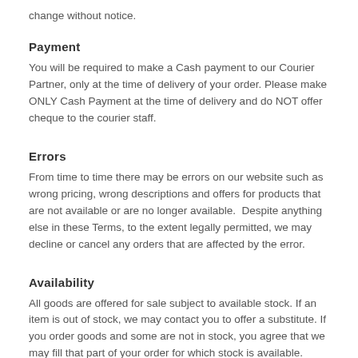change without notice.
Payment
You will be required to make a Cash payment to our Courier Partner, only at the time of delivery of your order. Please make ONLY Cash Payment at the time of delivery and do NOT offer cheque to the courier staff.
Errors
From time to time there may be errors on our website such as wrong pricing, wrong descriptions and offers for products that are not available or are no longer available.  Despite anything else in these Terms, to the extent legally permitted, we may decline or cancel any orders that are affected by the error.
Availability
All goods are offered for sale subject to available stock. If an item is out of stock, we may contact you to offer a substitute. If you order goods and some are not in stock, you agree that we may fill that part of your order for which stock is available.